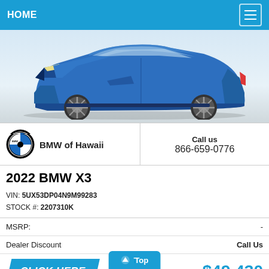HOME
[Figure (photo): Side profile of a blue 2022 BMW X3 SUV on a white/gray background]
BMW of Hawaii | Call us 866-659-0776
2022 BMW X3
VIN: 5UX53DP04N9M99283
STOCK #: 2207310K
| MSRP: | - |
| Dealer Discount | Call Us |
CLICK HERE
$49,430